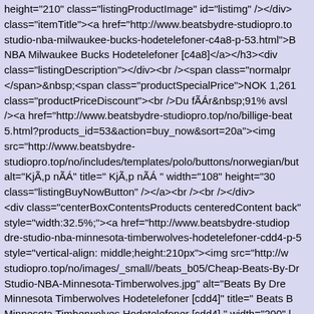height="210" class="listingProductImage" id="listimg" /></div> class="itemTitle"><a href="http://www.beatsbydre-studiopro.to studio-nba-milwaukee-bucks-hodetelefoner-c4a8-p-53.html">B NBA Milwaukee Bucks Hodetelefoner [c4a8]</a></h3><div class="listingDescription"></div><br /><span class="normalpr </span>&nbsp;<span class="productSpecialPrice">NOK 1,261 class="productPriceDiscount"><br />Du fÃĄr&nbsp;91% avsl /><a href="http://www.beatsbydre-studiopro.top/no/billige-beat 5.html?products_id=53&action=buy_now&sort=20a"><img src="http://www.beatsbydre-studiopro.top/no/includes/templates/polo/buttons/norwegian/but alt="KjÃ,p nÃĄ" title=" KjÃ,p nÃĄ " width="108" height="30 class="listingBuyNowButton" /></a><br /><br /></div> <div class="centerBoxContentsProducts centeredContent back" style="width:32.5%;"><a href="http://www.beatsbydre-studiop dre-studio-nba-minnesota-timberwolves-hodetelefoner-cdd4-p-5 style="vertical-align: middle;height:210px"><img src="http://w studiopro.top/no/images/_small//beats_b05/Cheap-Beats-By-Dr Studio-NBA-Minnesota-Timberwolves.jpg" alt="Beats By Dre Minnesota Timberwolves Hodetelefoner [cdd4]" title=" Beats B Minnesota Timberwolves Hodetelefoner [cdd4] " width="200" l class="listingProductImage" id="listimg" /></div></a><br /><l class="itemTitle"><a href="http://www.beatsbydre-studiopro.to studio-nba-minnesota-timberwolves-hodetelefoner-cdd4-p-56.h Studio NBA Minnesota Timberwolves Hodetelefoner [cdd4]</a